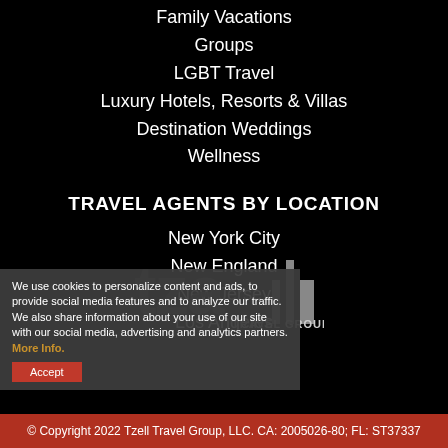Family Vacations
Groups
LGBT Travel
Luxury Hotels, Resorts & Villas
Destination Weddings
Wellness
TRAVEL AGENTS BY LOCATION
New York City
New England
New Jersey
Los Angeles
[Figure (logo): Tzell Travel Group logo with stylized text and vertical bar elements]
We use cookies to personalize content and ads, to provide social media features and to analyze our traffic. We also share information about your use of our site with our social media, advertising and analytics partners. More Info.
© Copyright 2022 Tzell Travel Group, LLC. CA: 2005026-80; FL: ST37337